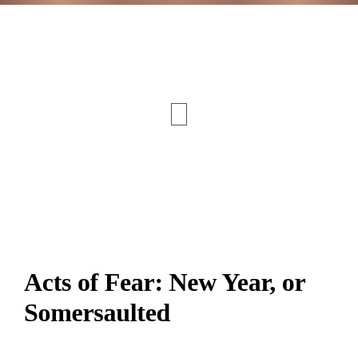[Figure (photo): A partial photo strip visible at the very top of the page, showing warm brown/reddish tones, likely a photograph of people. The rest of the image area is white with a small rectangle outline (play button) centered in the middle of the image area.]
Acts of Fear: New Year, or Somersaulted